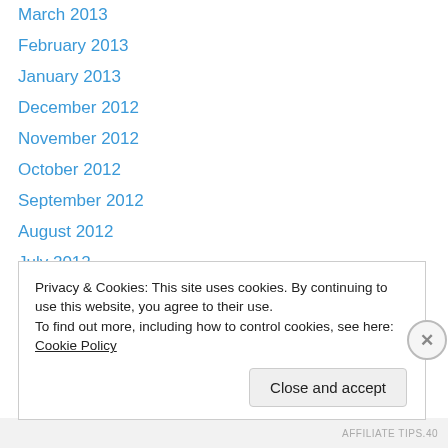March 2013
February 2013
January 2013
December 2012
November 2012
October 2012
September 2012
August 2012
July 2012
June 2012
May 2012
April 2012
March 2012
Privacy & Cookies: This site uses cookies. By continuing to use this website, you agree to their use.
To find out more, including how to control cookies, see here: Cookie Policy
Close and accept